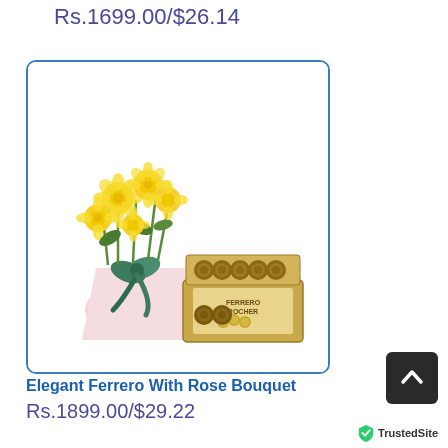Rs.1699.00/$26.14
[Figure (photo): Product card showing a yellow rose bouquet wrapped in pink paper with a green bow, alongside a box of Ferrero Rocher chocolates, displayed inside a rounded-corner bordered card.]
Elegant Ferrero With Rose Bouquet
Rs.1899.00/$29.22